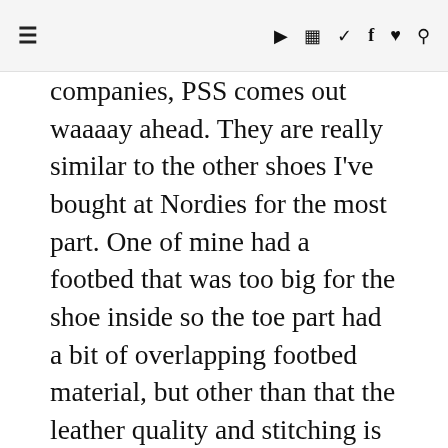≡ ▶ 📷 🐦 f ♥ 🔍
companies, PSS comes out waaaay ahead. They are really similar to the other shoes I've bought at Nordies for the most part. One of mine had a footbed that was too big for the shoe inside so the toe part had a bit of overlapping footbed material, but other than that the leather quality and stitching is lovely. They also don't hurt my feet to wear! Even the higher nude pumps I wore to work all day no problem, without breaking them in. :D